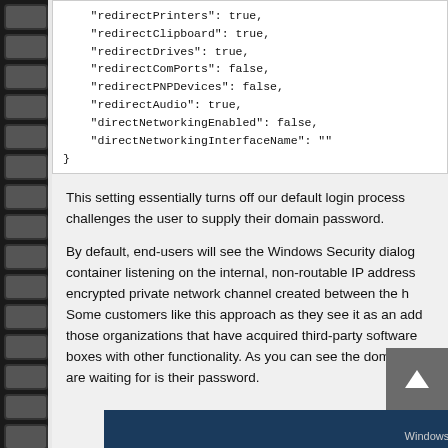[Figure (screenshot): Code block showing JSON configuration with properties: redirectPrinters: true, redirectClipboard: true, redirectDrives: true, redirectComPorts: false, redirectPNPDevices: false, redirectAudio: true, directNetworkingEnabled: false, directNetworkingInterfaceName: empty string, closing brace]
This setting essentially turns off our default login process challenges the user to supply their domain password.
By default, end-users will see the Windows Security dialog container listening on the internal, non-routable IP address encrypted private network channel created between the h Some customers like this approach as they see it as an add those organizations that have acquired third-party software boxes with other functionality. As you can see the domain, we are waiting for is their password.
[Figure (screenshot): Bottom portion of a Windows Security dialog screenshot, showing taskbar area with Windows Security text visible]